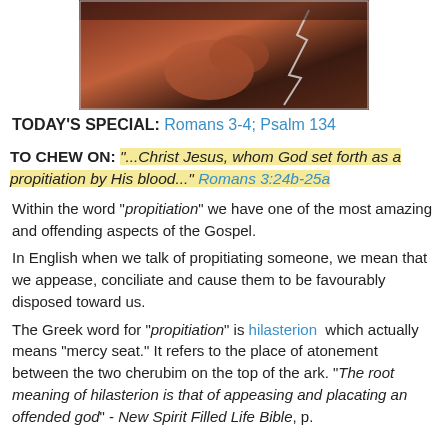[Figure (photo): A partial photo at the top of the page showing hands, partially cropped]
TODAY'S SPECIAL: Romans 3-4; Psalm 134
TO CHEW ON: "...Christ Jesus, whom God set forth as a propitiation by His blood..." Romans 3:24b-25a
Within the word "propitiation" we have one of the most amazing and offending aspects of the Gospel.
In English when we talk of propitiating someone, we mean that we appease, conciliate and cause them to be favourably disposed toward us.
The Greek word for "propitiation" is hilasterion which actually means "mercy seat." It refers to the place of atonement between the two cherubim on the top of the ark. "The root meaning of hilasterion is that of appeasing and placating an offended god" - New Spirit Filled Life Bible, p.